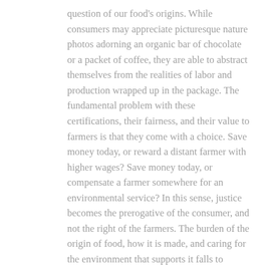question of our food's origins. While consumers may appreciate picturesque nature photos adorning an organic bar of chocolate or a packet of coffee, they are able to abstract themselves from the realities of labor and production wrapped up in the package. The fundamental problem with these certifications, their fairness, and their value to farmers is that they come with a choice. Save money today, or reward a distant farmer with higher wages? Save money today, or compensate a farmer somewhere for an environmental service? In this sense, justice becomes the prerogative of the consumer, and not the right of the farmers. The burden of the origin of food, how it is made, and caring for the environment that supports it falls to farmers, whereas consumers have the right to choose to not understand their food.